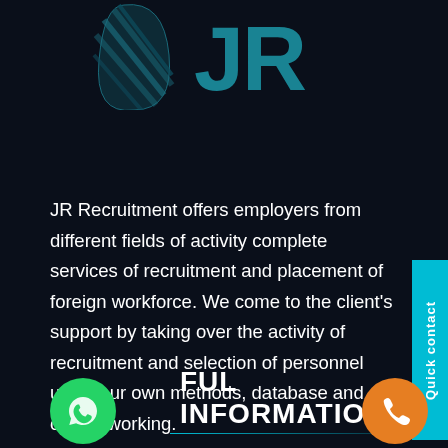[Figure (logo): JR Recruitment logo — teal/dark leaf-like emblem on the left and large teal 'JR' letters on the right, partially cropped at top]
JR Recruitment offers employers from different fields of activity complete services of recruitment and placement of foreign workforce. We come to the client's support by taking over the activity of recruitment and selection of personnel using our own methods, database and our networking.
FUL INFORMATION
[Figure (illustration): Green circular WhatsApp icon button at bottom left]
[Figure (illustration): Orange circular phone icon button at bottom right]